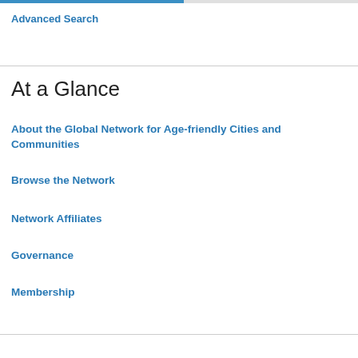Advanced Search
At a Glance
About the Global Network for Age-friendly Cities and Communities
Browse the Network
Network Affiliates
Governance
Membership